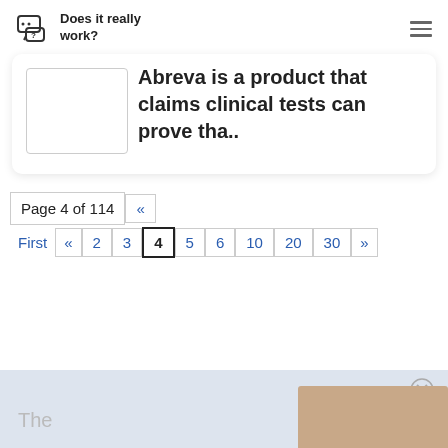Does it really work?
Abreva is a product that claims clinical tests can prove tha..
Page 4 of 114 « First « 2 3 4 5 6 10 20 30 »
The